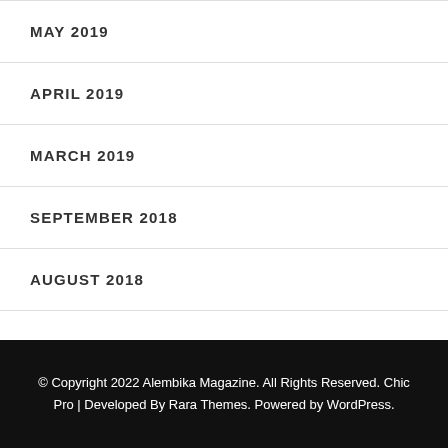MAY 2019
APRIL 2019
MARCH 2019
SEPTEMBER 2018
AUGUST 2018
© Copyright 2022 Alembika Magazine. All Rights Reserved. Chic Pro | Developed By Rara Themes. Powered by WordPress.